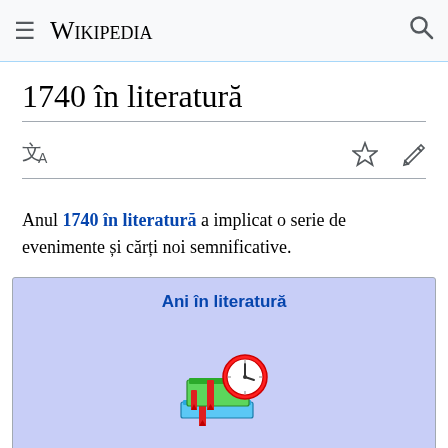≡ Wikipedia 🔍
1740 în literatură
Anul 1740 în literatură a implicat o serie de evenimente și cărți noi semnificative.
[Figure (illustration): Infobox titled 'Ani în literatură' with an image of stacked books with a clock]
XVII · Sec XVIII · Sec XIX · XX